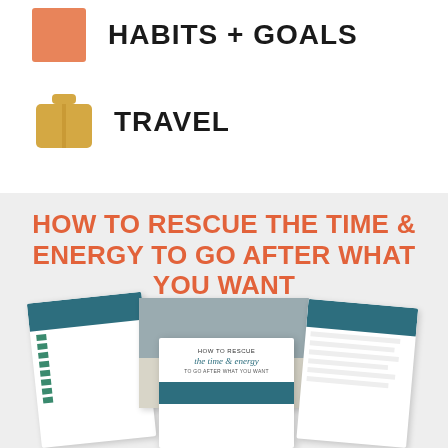HABITS + GOALS
TRAVEL
[Figure (illustration): Promotional banner with text 'HOW TO RESCUE THE TIME & ENERGY TO GO AFTER WHAT YOU WANT' in orange bold text on light gray background, with booklet/worksheet preview images below]
HOW TO RESCUE THE TIME & ENERGY TO GO AFTER WHAT YOU WANT